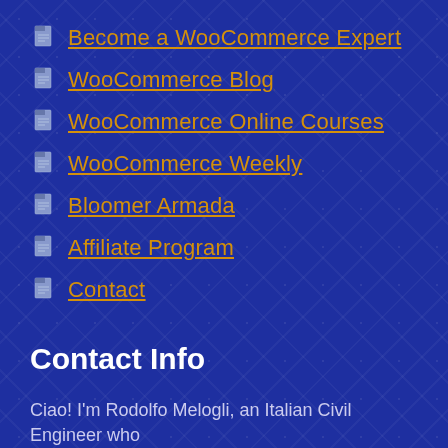Become a WooCommerce Expert
WooCommerce Blog
WooCommerce Online Courses
WooCommerce Weekly
Bloomer Armada
Affiliate Program
Contact
Contact Info
Ciao! I'm Rodolfo Melogli, an Italian Civil Engineer who